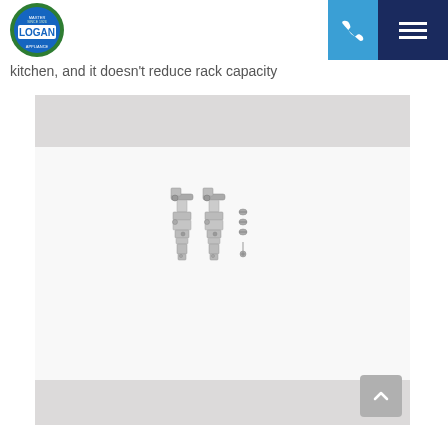Logan Appliance
kitchen, and it doesn't reduce rack capacity
[Figure (photo): Product photo showing two dishwasher rack clips/tines with accompanying small hardware pieces, displayed against a white background with grey top and bottom bands]
[Figure (logo): Logan Master Appliance logo - circular logo with blue and green colors, text LOGAN in blue]